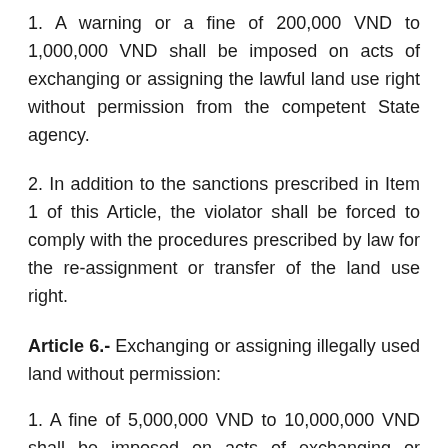1. A warning or a fine of 200,000 VND to 1,000,000 VND shall be imposed on acts of exchanging or assigning the lawful land use right without permission from the competent State agency.
2. In addition to the sanctions prescribed in Item 1 of this Article, the violator shall be forced to comply with the procedures prescribed by law for the re-assignment or transfer of the land use right.
Article 6.- Exchanging or assigning illegally used land without permission:
1. A fine of 5,000,000 VND to 10,000,000 VND shall be imposed on acts of exchanging or assigning